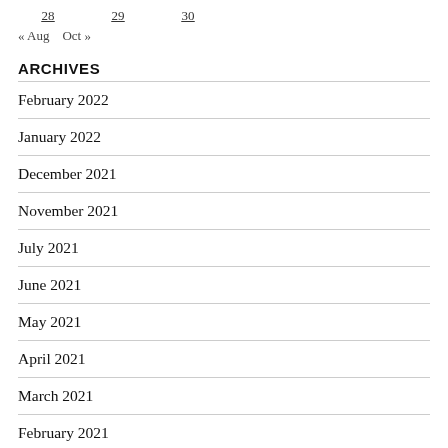28   29   30
« Aug   Oct »
ARCHIVES
February 2022
January 2022
December 2021
November 2021
July 2021
June 2021
May 2021
April 2021
March 2021
February 2021
January 2021